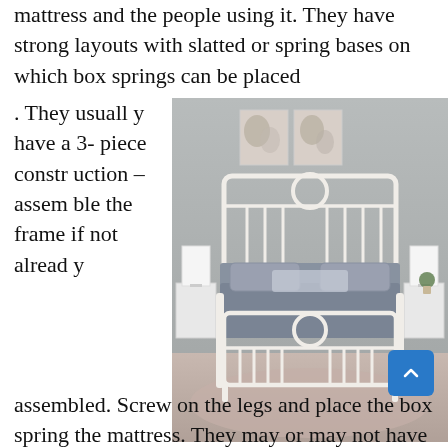mattress and the people using it. They have strong layouts with slatted or spring bases on which box springs can be placed. They usually have a 3-piece construction – assemble the frame if not already assembled. Screw on the legs and place the box spring the mattress. They may or may not have a head and
[Figure (photo): A white metal bed frame with ornate headboard and footboard featuring circular decorative elements, styled with blue/grey bedding, two nightstands with lamps, and abstract wall art on a grey wall. Photographed in a bedroom setting with a light area rug.]